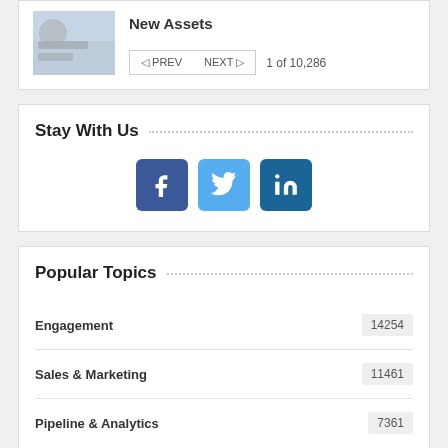New Assets
PREV   NEXT   1 of 10,286
Stay With Us
[Figure (other): Social media icons: Facebook, Twitter, LinkedIn]
Popular Topics
| Topic | Count |
| --- | --- |
| Engagement | 14254 |
| Sales & Marketing | 11461 |
| Pipeline & Analytics | 7361 |